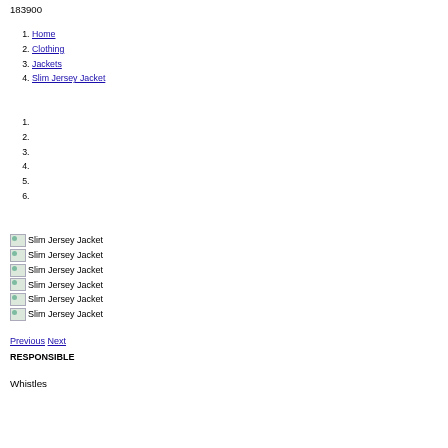183900
1. Home
2. Clothing
3. Jackets
4. Slim Jersey Jacket
1.
2.
3.
4.
5.
6.
[Figure (other): Slim Jersey Jacket image 1]
[Figure (other): Slim Jersey Jacket image 2]
[Figure (other): Slim Jersey Jacket image 3]
[Figure (other): Slim Jersey Jacket image 4]
[Figure (other): Slim Jersey Jacket image 5]
[Figure (other): Slim Jersey Jacket image 6]
Previous Next
RESPONSIBLE
Whistles